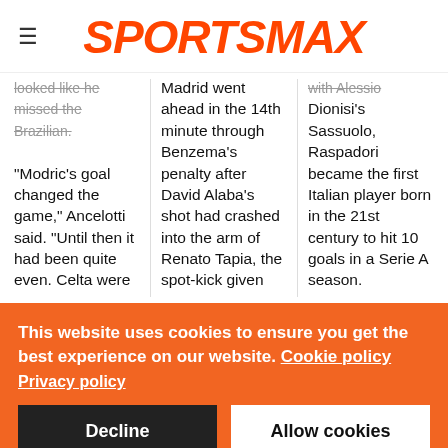SPORTSMAX
looked like he missed the Brazilian.
"Modric's goal changed the game," Ancelotti said. "Until then it had been quite even. Celta were
Madrid went ahead in the 14th minute through Benzema's penalty after David Alaba's shot had crashed into the arm of Renato Tapia, the spot-kick given
with Alessio Dionisi's Sassuolo, Raspadori became the first Italian player born in the 21st century to hit 10 goals in a Serie A season.
Reports suggest
This website uses cookies to ensure you get the best experience on our website. Cookie policy
Privacy policy
Decline
Allow cookies